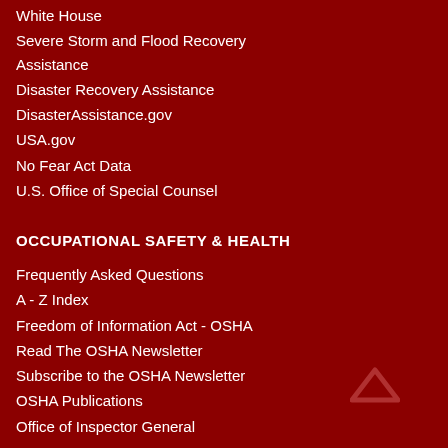White House
Severe Storm and Flood Recovery Assistance
Disaster Recovery Assistance
DisasterAssistance.gov
USA.gov
No Fear Act Data
U.S. Office of Special Counsel
OCCUPATIONAL SAFETY & HEALTH
Frequently Asked Questions
A - Z Index
Freedom of Information Act - OSHA
Read The OSHA Newsletter
Subscribe to the OSHA Newsletter
OSHA Publications
Office of Inspector General
[Figure (illustration): Back to top chevron/arrow icon in dark red outline on dark red background, bottom right area]